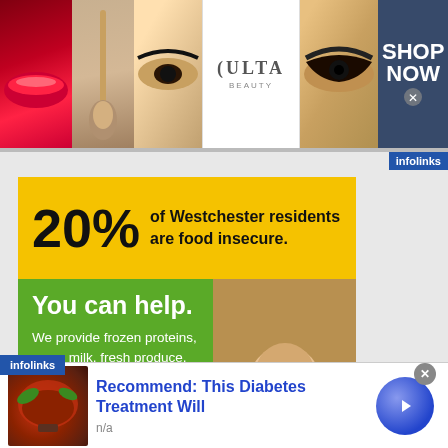[Figure (screenshot): Ulta Beauty banner advertisement with makeup imagery including lips, brush, eye, Ulta logo, smoky eye, and SHOP NOW button]
infolinks
[Figure (infographic): Mount Kisco Interfaith Food Pantry advertisement: 20% of Westchester residents are food insecure. You can help. We provide frozen proteins, eggs, milk, fresh produce, and other staples to hundreds of Northern Westchester families each week. To learn more about The Mount Kisco Interfaith Food Pantry or to help, kiscofoodpantry.org]
infolinks
[Figure (screenshot): Bottom advertisement: Recommend: This Diabetes Treatment Will. n/a. With circular arrow button.]